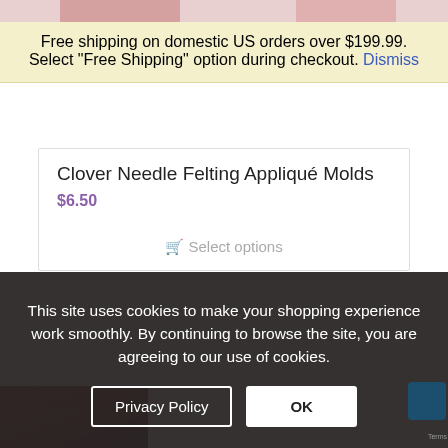[Figure (screenshot): Partial product images at top of page]
Free shipping on domestic US orders over $199.99. Select "Free Shipping" option during checkout. Dismiss
Clover Needle Felting Appliqué Molds
$6.50
Select options
This site uses cookies to make your shopping experience work smoothly. By continuing to browse the site, you are agreeing to our use of cookies.
Privacy Policy
OK